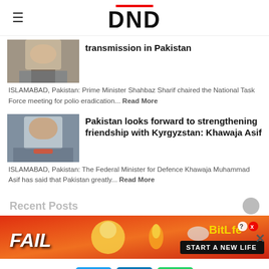DND
transmission in Pakistan
ISLAMABAD, Pakistan: Prime Minister Shahbaz Sharif chaired the National Task Force meeting for polio eradication... Read More
Pakistan looks forward to strengthening friendship with Kyrgyzstan: Khawaja Asif
ISLAMABAD, Pakistan: The Federal Minister for Defence Khawaja Muhammad Asif has said that Pakistan greatly... Read More
Recent Posts
[Figure (screenshot): BitLife advertisement banner - FAIL text with cartoon character, orange/red gradient background, START A NEW LIFE tagline]
[Figure (infographic): Social media share buttons: Twitter (blue), LinkedIn (blue), WhatsApp (green)]